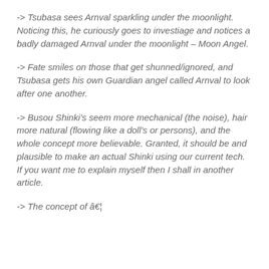-> Tsubasa sees Arnval sparkling under the moonlight. Noticing this, he curiously goes to investiage and notices a badly damaged Arnval under the moonlight – Moon Angel.
-> Fate smiles on those that get shunned/ignored, and Tsubasa gets his own Guardian angel called Arnval to look after one another.
-> Busou Shinki's seem more mechanical (the noise), hair more natural (flowing like a doll's or persons), and the whole concept more believable. Granted, it should be and plausible to make an actual Shinki using our current tech. If you want me to explain myself then I shall in another article.
-> The concept of Â… something about like…